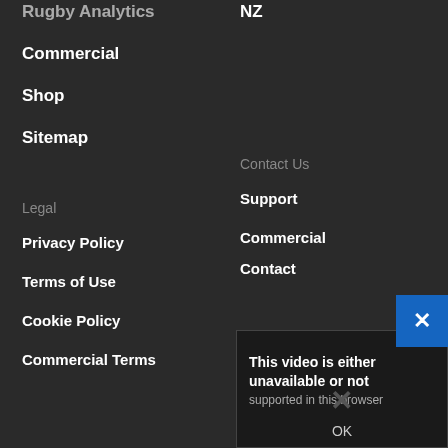Rugby Analytics
Commercial
NZ
Shop
Sitemap
Legal
Contact Us
Privacy Policy
Support
Terms of Use
Commercial Contact
Cookie Policy
Commercial Terms
[Figure (screenshot): Error dialog: 'This video is either unavailable or not supported in this browser' with OK button and close (X) buttons]